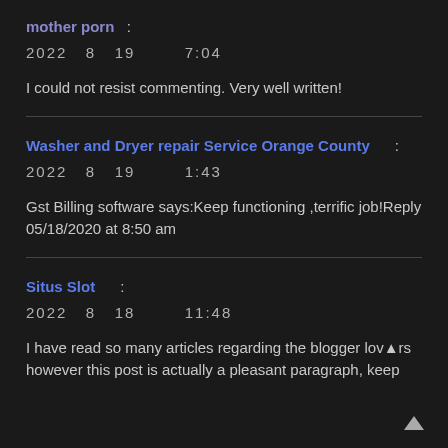mother porn :
2022  8  19        7:04
I could not resist commenting. Very well written!
Washer and Dryer repair Service Orange County :
2022  8  19        1:43
Gst Billing software says:Keep functioning ,terrific job!Reply 05/18/2020 at 8:50 am
Situs Slot :
2022  8  18        11:48
I have read so many articles regarding the blogger lovers however this post is actually a pleasant paragraph, keep